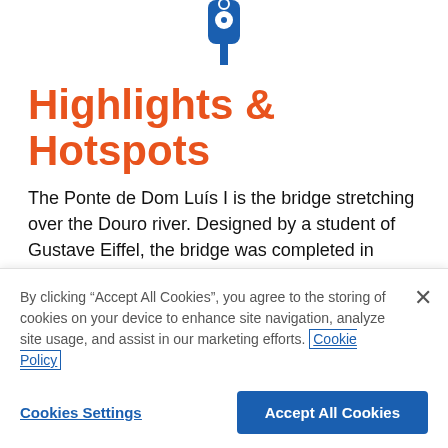[Figure (logo): Blue location pin / traffic light icon with circular center, pointing downward]
Highlights & Hotspots
The Ponte de Dom Luís I is the bridge stretching over the Douro river. Designed by a student of Gustave Eiffel, the bridge was completed in 1886, replacing the primitive bridge made from port boats.
Take a trip to the Vila Nova de Gaia to discover the history of port-wine making which originated in the city. This fascinating
By clicking “Accept All Cookies”, you agree to the storing of cookies on your device to enhance site navigation, analyze site usage, and assist in our marketing efforts. Cookie Policy
Cookies Settings
Accept All Cookies